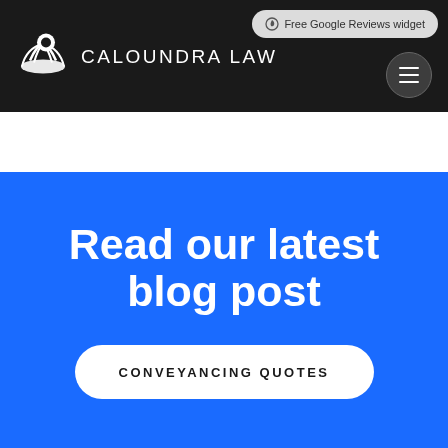Caloundra Law
Free Google Reviews widget
Read our latest blog post
CONVEYANCING QUOTES